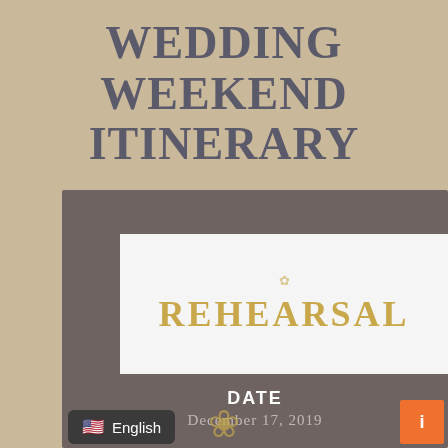WEDDING WEEKEND ITINERARY
REHEARSAL
DATE
December 17, 2019
English